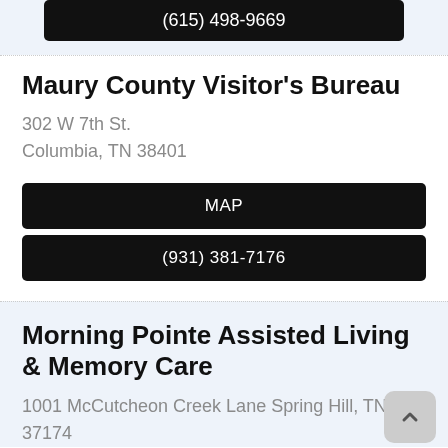(615) 498-9669
Maury County Visitor's Bureau
302 W 7th St.
Columbia, TN 38401
MAP
(931) 381-7176
Morning Pointe Assisted Living & Memory Care
1001 McCutcheon Creek Lane Spring Hill, TN 37174
MAP